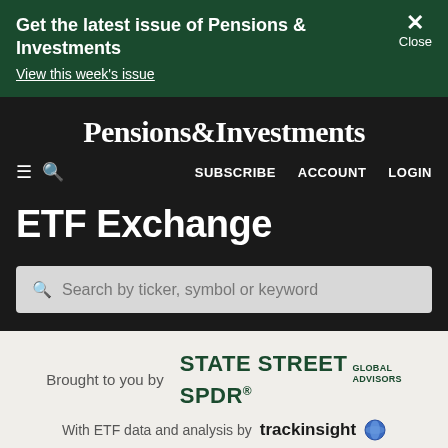Get the latest issue of Pensions & Investments
View this week's issue
Pensions&Investments
SUBSCRIBE  ACCOUNT  LOGIN
ETF Exchange
Search by ticker, symbol or keyword
Brought to you by STATE STREET GLOBAL ADVISORS SPDR
With ETF data and analysis by trackinsight